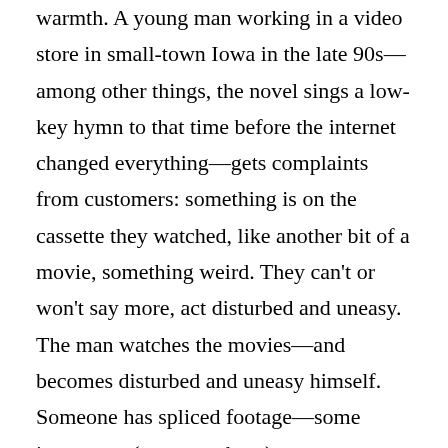warmth. A young man working in a video store in small-town Iowa in the late 90s—among other things, the novel sings a low-key hymn to that time before the internet changed everything—gets complaints from customers: something is on the cassette they watched, like another bit of a movie, something weird. They can't or won't say more, act disturbed and uneasy. The man watches the movies—and becomes disturbed and uneasy himself. Someone has spliced footage—some innocuous (an empty barn), some frightening (a hooded figure tied to a chair)—into the disposable Hollywood products of the 80s and 90s. Reluctantly, the man is drawn into an investigation of sorts, propelled by two women (one